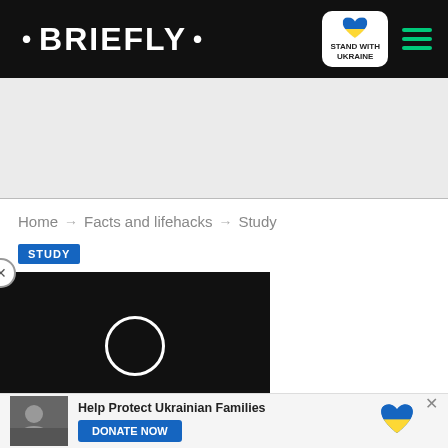• BRIEFLY •
[Figure (other): Gray advertisement placeholder area]
Home → Facts and lifehacks → Study
STUDY
e application, cancies, contact
[Figure (other): Video overlay with spinning circle loader and red scroll-down button]
Help Protect Ukrainian Families DONATE NOW